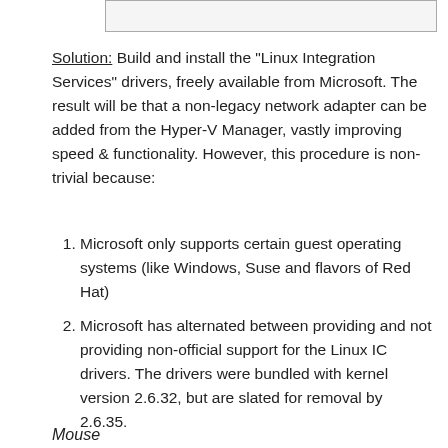[Figure (other): A rectangular box at the top of the page, partially visible, light gray with border]
Solution: Build and install the "Linux Integration Services" drivers, freely available from Microsoft. The result will be that a non-legacy network adapter can be added from the Hyper-V Manager, vastly improving speed & functionality. However, this procedure is non-trivial because:
Microsoft only supports certain guest operating systems (like Windows, Suse and flavors of Red Hat)
Microsoft has alternated between providing and not providing non-official support for the Linux IC drivers. The drivers were bundled with kernel version 2.6.32, but are slated for removal by 2.6.35.
Mouse